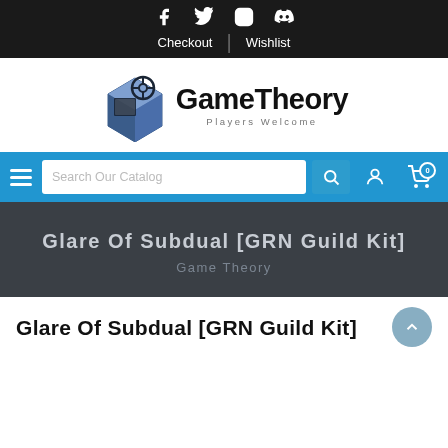Facebook Twitter Instagram Discord | Checkout | Wishlist
[Figure (logo): GameTheory logo with a blue 3D cube and steering wheel icon, text reads 'GameTheory' with subtitle 'Players Welcome']
[Figure (screenshot): Blue navigation bar with hamburger menu, search field 'Search Our Catalog', search icon, user icon, and cart icon with badge '0']
Glare Of Subdual [GRN Guild Kit]
Game Theory
Glare Of Subdual [GRN Guild Kit]